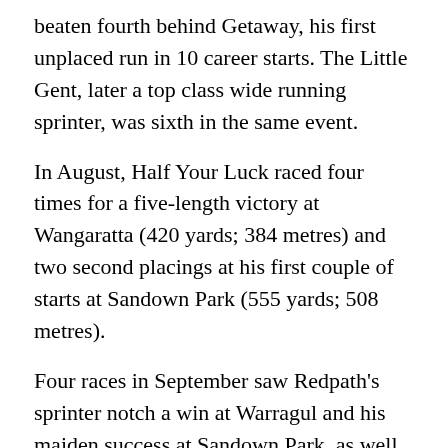beaten fourth behind Getaway, his first unplaced run in 10 career starts. The Little Gent, later a top class wide running sprinter, was sixth in the same event.
In August, Half Your Luck raced four times for a five-length victory at Wangaratta (420 yards; 384 metres) and two second placings at his first couple of starts at Sandown Park (555 yards; 508 metres).
Four races in September saw Redpath's sprinter notch a win at Warragul and his maiden success at Sandown Park, as well as another second placing. His early speed meant that in spite of drawing poorly on occasions, he was usually in the leading bunch in the early stages of a race, making him a formidable contender in any event he contested.
From five starts in October, Half Your Luck scored twice (at Warragul and Sandown) and ran two seconds, including a narrow defeat at Olympic Park to the flying Miss Baines where his tendency to race in the middle of the track proved the difference between victory and defeat.